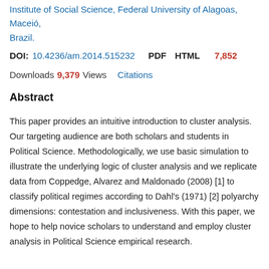Institute of Social Science, Federal University of Alagoas, Maceió, Brazil.
DOI: 10.4236/am.2014.515232   PDF   HTML   7,852 Downloads   9,379 Views   Citations
Abstract
This paper provides an intuitive introduction to cluster analysis. Our targeting audience are both scholars and students in Political Science. Methodologically, we use basic simulation to illustrate the underlying logic of cluster analysis and we replicate data from Coppedge, Alvarez and Maldonado (2008) [1] to classify political regimes according to Dahl's (1971) [2] polyarchy dimensions: contestation and inclusiveness. With this paper, we hope to help novice scholars to understand and employ cluster analysis in Political Science empirical research.